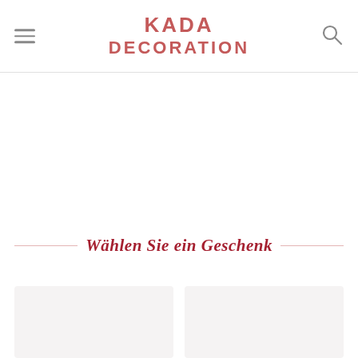KADA DECORATION
Wählen Sie ein Geschenk
[Figure (other): Two product placeholder cards side by side]